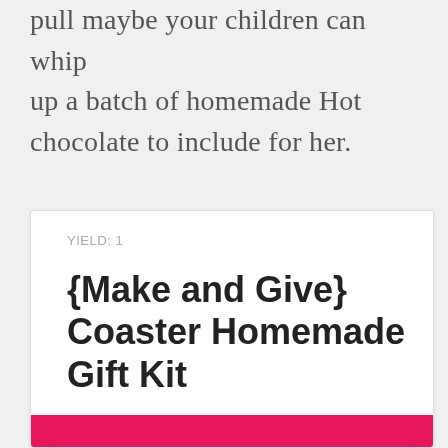pull maybe your children can whip up a batch of homemade Hot chocolate to include for her.
YIELD: 1
{Make and Give} Coaster Homemade Gift Kit
There is something so special about a homemade gift
No Ratings